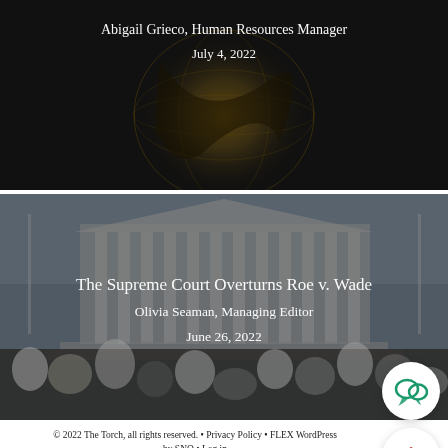[Figure (photo): Dark background with faint golden globe illustration, overlaid with white text showing author and date]
Abigail Grieco, Human Resources Manager
July 4, 2022
[Figure (photo): Crowd protest photo outside Supreme Court building with white text overlay showing article title, author, and date]
The Supreme Court Overturns Roe v. Wade
Olivia Seaman, Managing Editor
June 26, 2022
© 2022 The Torch, all rights reserved. • Privacy Policy • FLEX WordPress by SNO • Log in